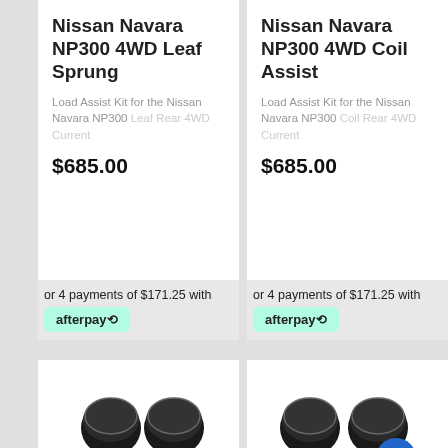Nissan Navara NP300 4WD Leaf Sprung
Load Assist Kit for the Nissan Navara NP300 Leaf Rear 4WD Current
$685.00
or 4 payments of $171.25 with afterpay
Nissan Navara NP300 4WD Coil Assist
Load Assist Kit for the Nissan Navara NP300 Coil Rear 4WD Current
$685.00
or 4 payments of $171.25 with afterpay
[Figure (photo): Automotive load assist kit parts including air bags, brackets and hardware]
[Figure (photo): Automotive load assist kit parts including air bags and hardware with green and blue circles visible]